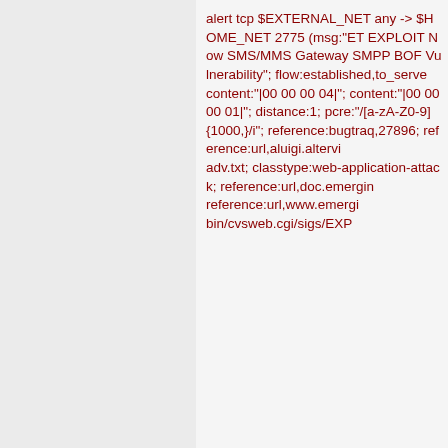alert tcp $EXTERNAL_NET any -> $HOME_NET 2775 (msg:"ET EXPLOIT Now SMS/MMS Gateway SMPP BOF Vulnerability"; flow:established,to_server; content:"|00 00 00 04|"; content:"|00 00 00 01|"; distance:1; pcre:"/[a-zA-Z0-9]{1000,}/i"; reference:bugtraq,27896; reference:url,aluigi.altervi...adv.txt; classtype:web-application-attack; reference:url,doc.emergin... reference:url,www.emergi... bin/cvsweb.cgi/sigs/EXPL...